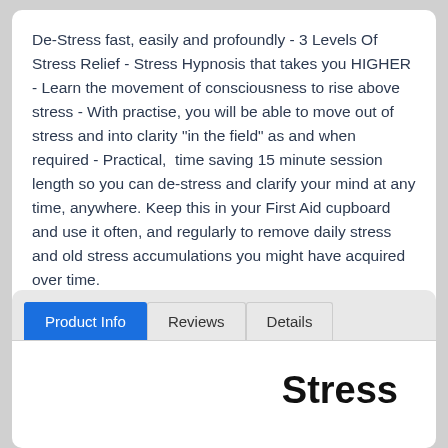De-Stress fast, easily and profoundly - 3 Levels Of Stress Relief - Stress Hypnosis that takes you HIGHER - Learn the movement of consciousness to rise above stress - With practise, you will be able to move out of stress and into clarity "in the field" as and when required - Practical,  time saving 15 minute session length so you can de-stress and clarify your mind at any time, anywhere. Keep this in your First Aid cupboard and use it often, and regularly to remove daily stress and old stress accumulations you might have acquired over time.
Product Info | Reviews | Details
Stress